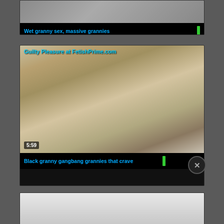[Figure (screenshot): Video thumbnail card 1: blurred/grey thumbnail image with title bar showing 'Wet granny sex, massive grannies' in blue text]
[Figure (screenshot): Video thumbnail card 2: thumbnail image with watermark 'Guilty Pleasure at FetishPrime.com', duration badge '5:59', title bar showing 'Black granny gangbang grannies that crave' with green bar and 'RII' text]
[Figure (screenshot): Video thumbnail card 3 (partially visible): light grey/white blurred thumbnail with close button (X) overlay]